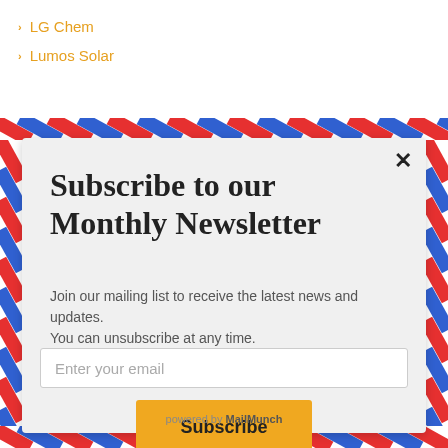LG Chem
Lumos Solar
Subscribe to our Monthly Newsletter
Join our mailing list to receive the latest news and updates.
You can unsubscribe at any time.
Enter your email
Subscribe
powered by MailMunch